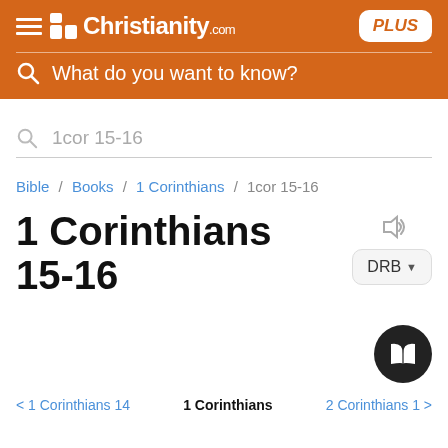Christianity.com PLUS — What do you want to know?
1cor 15-16
Bible / Books / 1 Corinthians / 1cor 15-16
1 Corinthians 15-16
DRB
< 1 Corinthians 14   1 Corinthians   2 Corinthians 1 >